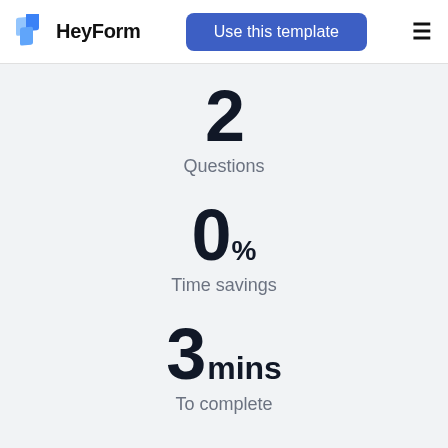[Figure (logo): HeyForm logo with blue layered letter H icon and the text HeyForm in bold black]
Use this template
≡
2
Questions
0%
Time savings
3 mins
To complete